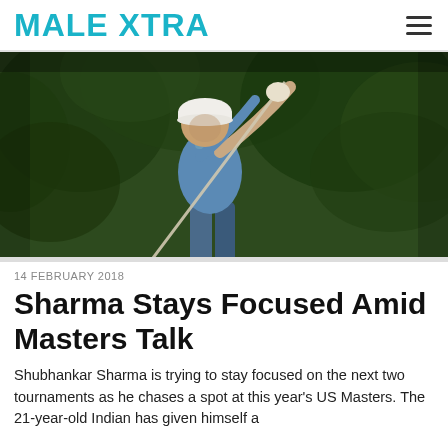MALE XTRA
[Figure (photo): A golfer mid-swing with a golf club, wearing a white cap and blue shirt, with a dark green tree background]
14 FEBRUARY 2018
Sharma Stays Focused Amid Masters Talk
Shubhankar Sharma is trying to stay focused on the next two tournaments as he chases a spot at this year's US Masters. The 21-year-old Indian has given himself a